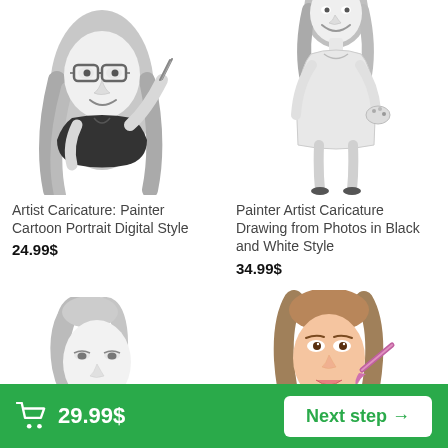[Figure (illustration): Grayscale caricature of a young woman with glasses and long hair, holding a paintbrush/pencil, wearing a black top - artist caricature in cartoon style]
[Figure (illustration): Grayscale caricature of a tall slender woman in a white dress holding a palette and paintbrush - painter artist caricature in black and white style]
Artist Caricature: Painter Cartoon Portrait Digital Style
24.99$
Painter Artist Caricature Drawing from Photos in Black and White Style
34.99$
[Figure (illustration): Grayscale caricature of a woman with elegant hair and stylized features - partially visible at bottom left]
[Figure (illustration): Color caricature of a woman with brown hair holding a makeup brush - partially visible at bottom right]
29.99$
Next step →